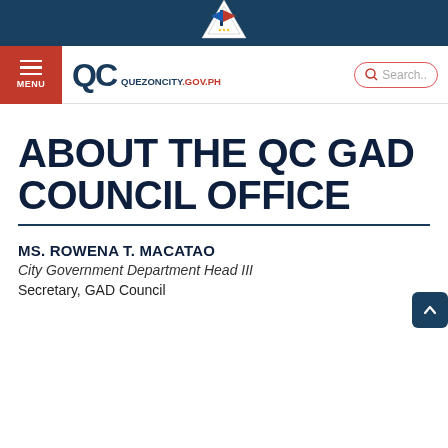[Figure (logo): Quezon City government seal at top center of teal banner]
[Figure (logo): QC QUEZONCITY.GOV.PH website logo in navigation bar]
ABOUT THE QC GAD COUNCIL OFFICE
MS. ROWENA T. MACATAO
City Government Department Head III
Secretary, GAD Council